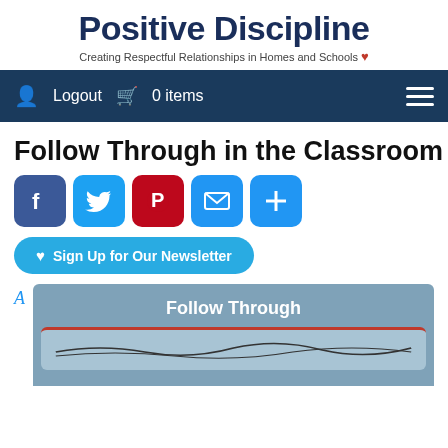[Figure (logo): Positive Discipline logo with title 'Positive Discipline' and subtitle 'Creating Respectful Relationships in Homes and Schools' with a small heart icon]
Follow Through in the Classroom
[Figure (infographic): Social sharing buttons: Facebook, Twitter, Pinterest, Email, and a plus/share button]
[Figure (infographic): Sign Up for Our Newsletter button with heart icon]
A
[Figure (infographic): Partial article image with blue-gray background showing 'Follow Through' title text and a lighter blue inner panel with a red border at top, partially visible]